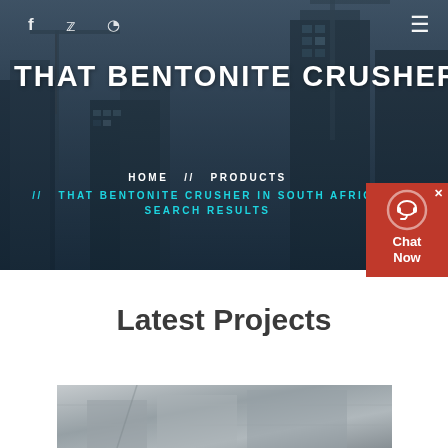[Figure (screenshot): Website header/hero image with dark-overlaid city skyline/construction site background]
f  ✦  ≡
THAT BENTONITE CRUSHER IN S
HOME  //  PRODUCTS  //  THAT BENTONITE CRUSHER IN SOUTH AFRICA SEARCH RESULTS
[Figure (screenshot): Red chat widget with headset icon and 'Chat Now' text]
Latest Projects
[Figure (photo): Industrial crusher equipment inside a facility]